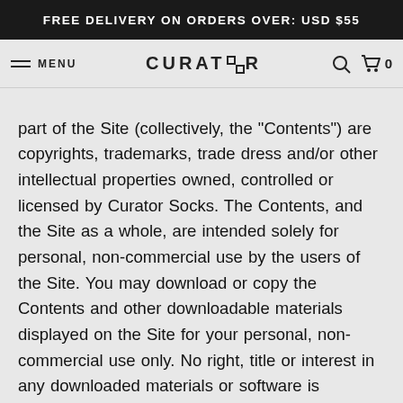FREE DELIVERY ON ORDERS OVER: USD $55
MENU  CURATOR  0
part of the Site (collectively, the "Contents") are copyrights, trademarks, trade dress and/or other intellectual properties owned, controlled or licensed by Curator Socks. The Contents, and the Site as a whole, are intended solely for personal, non-commercial use by the users of the Site. You may download or copy the Contents and other downloadable materials displayed on the Site for your personal, non-commercial use only. No right, title or interest in any downloaded materials or software is transferred to you as a result of any such downloading or copying. You may not reproduce (except as noted above), publish, transmit, distribute, display, modify, create derivative works from, sell or participate in any sale of, or exploit in any way, in whole or in part, any of the Contents, the Site, or any related software. The Site as a whole is protected by copyright and trade dress and all worldwide